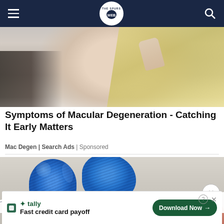Spurs Web
[Figure (photo): Close-up of a blonde woman touching her face, wearing a black top, slightly blurred background]
Symptoms of Macular Degeneration - Catching It Early Matters
Mac Degen | Search Ads | Sponsored
[Figure (photo): Close-up of feet with two toes wrapped in blue medical bandages on a light wooden surface]
tally Fast credit card payoff Download Now →